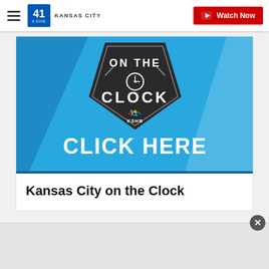41 KSHB KANSAS CITY — Watch Now
[Figure (screenshot): KSHB 41 Kansas City 'On the Clock' promotional image with blue background, dark badge graphic reading 'ON THE CLOCK' with a clock icon and '41 KSHB' logo, and large white text 'CLICK HERE']
Kansas City on the Clock